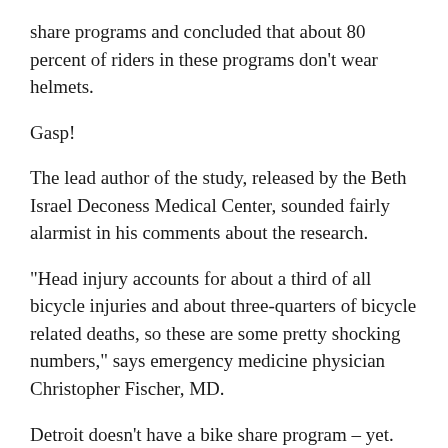share programs and concluded that about 80 percent of riders in these programs don't wear helmets.
Gasp!
The lead author of the study, released by the Beth Israel Deconess Medical Center, sounded fairly alarmist in his comments about the research.
“Head injury accounts for about a third of all bicycle injuries and about three-quarters of bicycle related deaths, so these are some pretty shocking numbers,” says emergency medicine physician Christopher Fischer, MD.
Detroit doesn’t have a bike share program – yet. With plans for a small one this summer and perhaps a bigger one next year, the conversation about safety in such efforts should take place.
Let’s start with one fault of the research that Fischer cites: